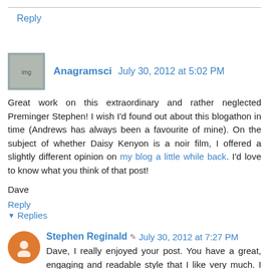Reply
Anagramsci July 30, 2012 at 5:02 PM
Great work on this extraordinary and rather neglected Preminger Stephen! I wish I'd found out about this blogathon in time (Andrews has always been a favourite of mine). On the subject of whether Daisy Kenyon is a noir film, I offered a slightly different opinion on my blog a little while back. I'd love to know what you think of that post!
Dave
Reply
Replies
Stephen Reginald July 30, 2012 at 7:27 PM
Dave, I really enjoyed your post. You have a great, engaging and readable style that I like very much. I tried to leave a comment at your